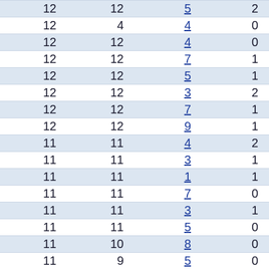| 12 | 12 | 5 | 2 |
| 12 | 4 | 4 | 0 |
| 12 | 12 | 4 | 0 |
| 12 | 12 | 7 | 1 |
| 12 | 12 | 5 | 1 |
| 12 | 12 | 3 | 2 |
| 12 | 12 | 7 | 1 |
| 12 | 12 | 9 | 1 |
| 11 | 11 | 4 | 2 |
| 11 | 11 | 3 | 1 |
| 11 | 11 | 1 | 1 |
| 11 | 11 | 7 | 0 |
| 11 | 11 | 3 | 1 |
| 11 | 11 | 5 | 0 |
| 11 | 10 | 8 | 0 |
| 11 | 9 | 5 | 0 |